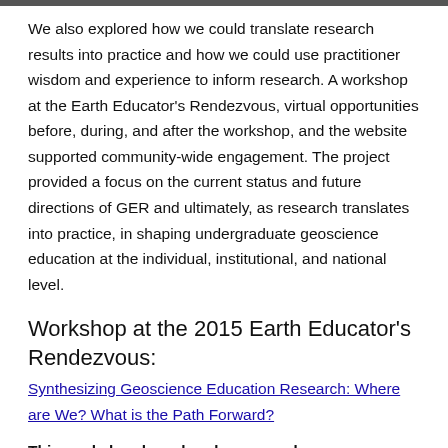We also explored how we could translate research results into practice and how we could use practitioner wisdom and experience to inform research. A workshop at the Earth Educator's Rendezvous, virtual opportunities before, during, and after the workshop, and the website supported community-wide engagement. The project provided a focus on the current status and future directions of GER and ultimately, as research translates into practice, in shaping undergraduate geoscience education at the individual, institutional, and national level.
Workshop at the 2015 Earth Educator's Rendezvous:
Synthesizing Geoscience Education Research: Where are We? What is the Path Forward?
This workshop has already occurred.